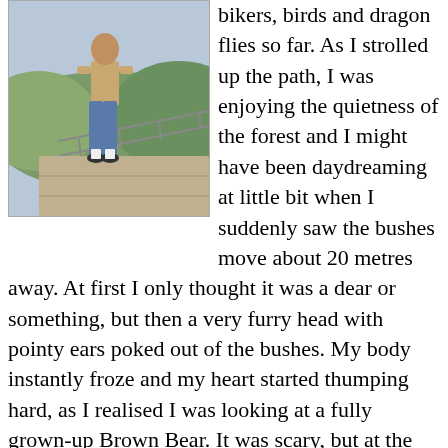[Figure (photo): A person standing on an outdoor path or steps with a scenic hillside/forest view in the background.]
bikers, birds and dragon flies so far. As I strolled up the path, I was enjoying the quietness of the forest and I might have been daydreaming at little bit when I suddenly saw the bushes move about 20 metres away. At first I only thought it was a dear or something, but then a very furry head with pointy ears poked out of the bushes. My body instantly froze and my heart started thumping hard, as I realised I was looking at a fully grown-up Brown Bear. It was scary, but at the same time extremely fascinating! I couldn't get myself to back away slowly as the tourist brochures tells you to do, but nor did I want to get more than a few metres closer to the big beast. It didn't seem like the bear noticed my presence at all. In the ten minutes I stood and stared at it, it only looked in my direction once and either didn't see me or didn't care. He or she was probably to busy eating berries of the bushes. After ten minutes, I lost sight of the animal as it walked in the other direction, away from me, which left me standing all my myself in a forest halfway across the world thinking: "WOW". I did pull out my